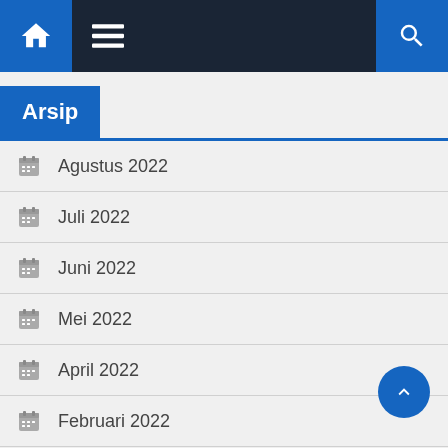Navigation bar with home, menu, and search icons
Arsip
Agustus 2022
Juli 2022
Juni 2022
Mei 2022
April 2022
Februari 2022
Januari 2022
Desember 2021